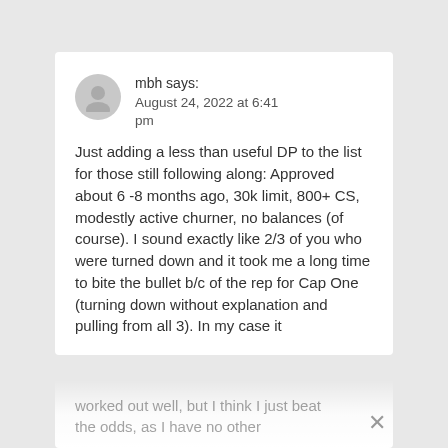mbh says:
August 24, 2022 at 6:41 pm
Just adding a less than useful DP to the list for those still following along: Approved about 6 -8 months ago, 30k limit, 800+ CS, modestly active churner, no balances (of course). I sound exactly like 2/3 of you who were turned down and it took me a long time to bite the bullet b/c of the rep for Cap One (turning down without explanation and pulling from all 3). In my case it worked out well, but I think I just beat the odds, as I have no other